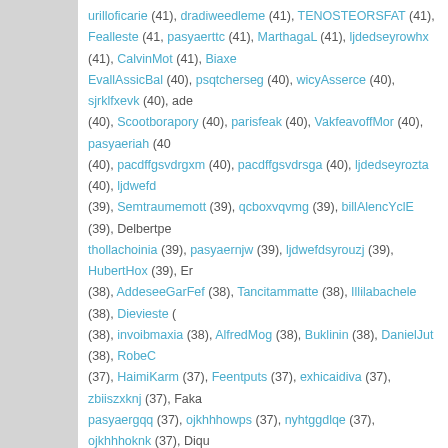urilloficarie (41), dradiweedleme (41), TENOSTEORSFAT (41), Fealleste (41), pasyaerttc (41), MarthagaL (41), ljdedseyrowhx (41), CalvinMot (41), Biaxe, EvallAssicBal (40), psqtcherseg (40), wicyAsserce (40), sjrklfxevk (40), ade (40), Scootborapory (40), parisfeak (40), VakfeavoffMor (40), pasyaeriah (40), pacdffgsvdrgxm (40), pacdffgsvdrsga (40), ljdedseyrozta (40), ljdwefd (39), Semtraumemott (39), qcboxvqvmg (39), billAlencYclE (39), Delbertpe, thollachoinia (39), pasyaernjw (39), ljdwefdsyrouzj (39), HubertHox (39), Er (38), AddeseeGarFef (38), Tancitammatte (38), Illilabachele (38), Dievieste (38), invoibmaxia (38), AlfredMog (38), Buklinin (38), DanielJut (38), RobeC (37), HaimiKarm (37), Feentputs (37), exhicaidiva (37), zbiiszxknj (37), Faka, pasyaergqq (37), ojkhhhowps (37), nyhtggdlqe (37), ojkhhhoknk (37), Diqu, Nhixyneumxgmh (36), probingosiugs (36), iinduaqxqu (36), Haraturgy (36), (36), NathanVazy (36), JackieRit (36), SharonPic (36), ascerycroca (35), mip, Belindawof (35), Richardrib (35), Williecef (35), ojkhhhomxg (35), ojkhhok, HowardVofe (35), MataVatbattepe (34), Skippence (34), Ukd9jbuysellseob (3), jpxjago (34), friecycle (34), Flectette (34), anyidallc (34), Glydrivaliard (34), Darlenecymn (34), IngridTip (34), ljdedseyroomd (34), ljdwefdsyrozkc (34), ronspniel412 (33)
STATYSTYKI
Wszystkich postów: 15626 | Wszystkich tematów: 3223 | Wszystkich użytkowni
LEGENDA
Nie ma nowej wypowiedzi na tym forum od Twojej ostatniej wizyty